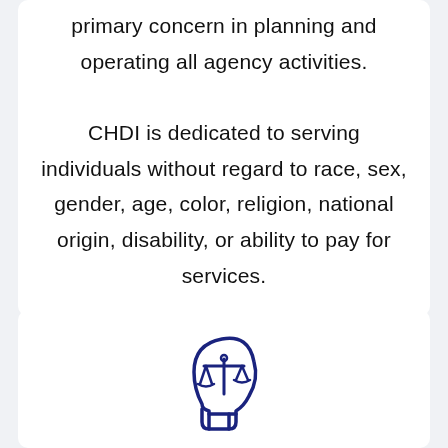primary concern in planning and operating all agency activities. CHDI is dedicated to serving individuals without regard to race, sex, gender, age, color, religion, national origin, disability, or ability to pay for services.
[Figure (illustration): Line-art icon of a human head profile with a balance/scales symbol overlaid, drawn in dark navy blue]